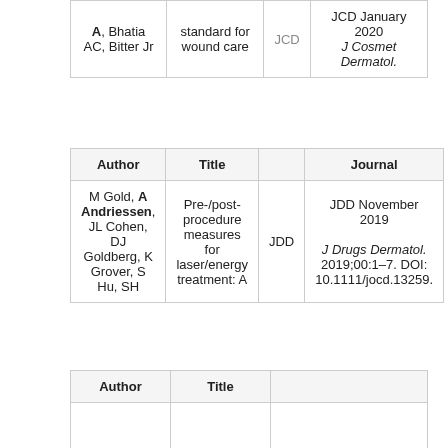| Author | Title |  | Journal |
| --- | --- | --- | --- |
| A, Bhatia AC, Bitter Jr | standard for wound care | JCD | JCD January 2020
J Cosmet Dermatol. |
| Author | Title |  | Journal |
| --- | --- | --- | --- |
| M Gold, A Andriessen, JL Cohen, DJ Goldberg, K Grover, S Hu, SH | Pre-/post-procedure measures for laser/energy treatment: A | JDD | JDD November 2019
J Drugs Dermatol. 2019;00:1–7. DOI: 10.1111/jocd.13259. |
| Author | Title |  |
| --- | --- | --- |